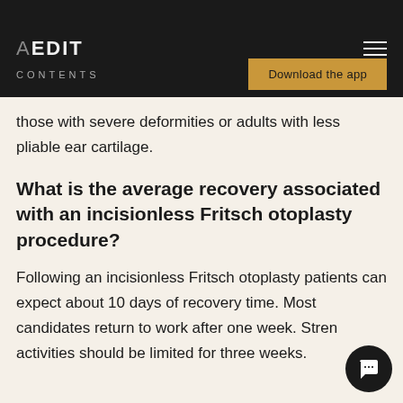AEDIT
CONTENTS
Download the app
those with severe deformities or adults with less pliable ear cartilage.
What is the average recovery associated with an incisionless Fritsch otoplasty procedure?
Following an incisionless Fritsch otoplasty patients can expect about 10 days of recovery time. Most candidates return to work after one week. Stren... activities should be limited for three weeks.